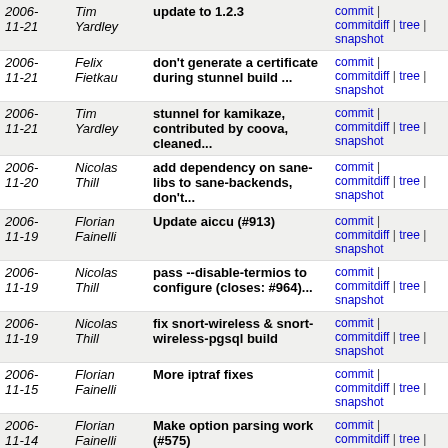| Date | Author | Message | Links |
| --- | --- | --- | --- |
| 2006-11-21 | Tim Yardley | update to 1.2.3 | commit | commitdiff | tree | snapshot |
| 2006-11-21 | Felix Fietkau | don't generate a certificate during stunnel build ... | commit | commitdiff | tree | snapshot |
| 2006-11-21 | Tim Yardley | stunnel for kamikaze, contributed by coova, cleaned... | commit | commitdiff | tree | snapshot |
| 2006-11-20 | Nicolas Thill | add dependency on sane-libs to sane-backends, don't... | commit | commitdiff | tree | snapshot |
| 2006-11-19 | Florian Fainelli | Update aiccu (#913) | commit | commitdiff | tree | snapshot |
| 2006-11-19 | Nicolas Thill | pass --disable-termios to configure (closes: #964)... | commit | commitdiff | tree | snapshot |
| 2006-11-19 | Nicolas Thill | fix snort-wireless & snort-wireless-pgsql build | commit | commitdiff | tree | snapshot |
| 2006-11-15 | Florian Fainelli | More iptraf fixes | commit | commitdiff | tree | snapshot |
| 2006-11-14 | Florian Fainelli | Make option parsing work (#575) | commit | commitdiff | tree | snapshot |
| 2006-11-14 | Florian Fainelli | Fix patch to make it usable with brcm-2.4 and brcm-2.6 | commit | commitdiff | tree | snapshot |
| 2006-11-14 | Mike Baker | fix dependancy | commit | commitdiff | tree | snapshot |
| 2006-11-14 | Florian Fainelli | Make setpwc depend on kmod-pwc package | commit | commitdiff | tree | snapshot |
| 2006-11-14 | Florian Fainelli | Upgrade strace to 4.5.14 (latest), differentiate sigcon... | commit | commitdiff | tree | snapshot |